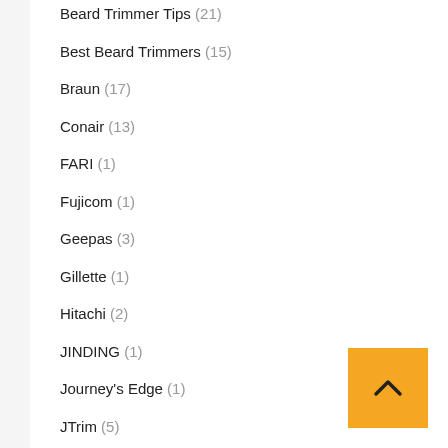Beard Trimmer Tips (21)
Best Beard Trimmers (15)
Braun (17)
Conair (13)
FARI (1)
Fujicom (1)
Geepas (3)
Gillette (1)
Hitachi (2)
JINDING (1)
Journey's Edge (1)
JTrim (5)
Karmin (1)
Kemei (5)
Lloytron (1)